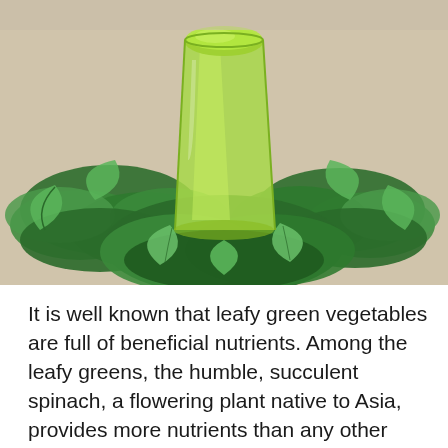[Figure (photo): A glass of green spinach smoothie surrounded by fresh spinach leaves on a beige/cream speckled surface.]
It is well known that leafy green vegetables are full of beneficial nutrients. Among the leafy greens, the humble, succulent spinach, a flowering plant native to Asia, provides more nutrients than any other food. Nutrition